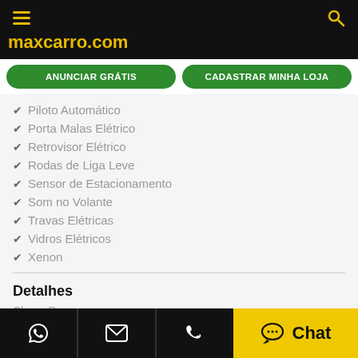maxcarro.com
Piloto Automatico
Porta Malas Elétrico
Retrovisor Elétrico
Rodas de Liga Leve
Sensor de Estacionamento
Som no Volante
Travas Elétricas
Vidros Elétricos
Xenon
Detalhes
Chave Reserva
IPVA Pago
Licenciado
Observações
Chat